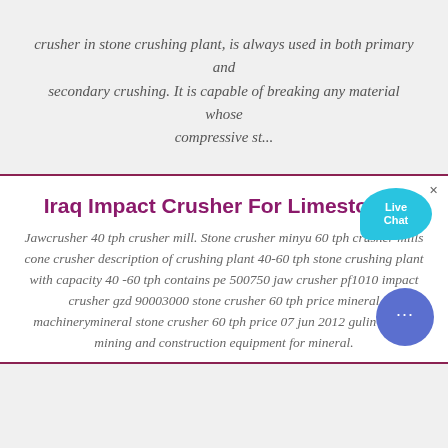crusher in stone crushing plant, is always used in both primary and secondary crushing. It is capable of breaking any material whose compressive st...
[Figure (other): Live Chat widget bubble in cyan/teal color with 'Live Chat' text and a close X button]
Iraq Impact Crusher For Limestones
Jawcrusher 40 tph crusher mill. Stone crusher minyu 60 tph crusher mills cone crusher description of crushing plant 40-60 tph stone crushing plant with capacity 40 -60 tph contains pe 500750 jaw crusher pf1010 impact crusher gzd 90003000 stone crusher 60 tph price mineral machinerymineral stone crusher 60 tph price 07 jun 2012 gulin supply mining and construction equipment for mineral.
[Figure (other): Blue circular chat FAB button with ellipsis (…) icon]